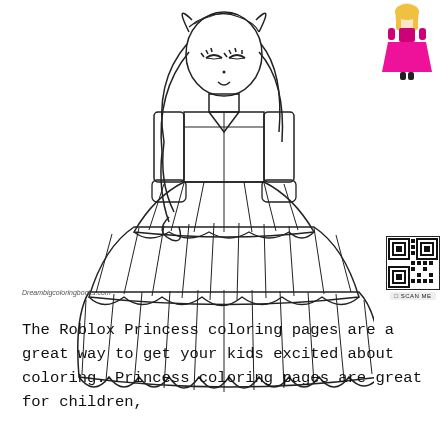[Figure (illustration): Roblox princess character coloring page outline drawing - a blocky Roblox-style girl with long hair wearing a tiered ruffle ball gown dress, shown in black and white outline for coloring]
[Figure (illustration): Small colored reference image of the Roblox princess in a pink/magenta dress, shown in the top right corner]
[Figure (other): QR code with SCAN ME label, positioned bottom right]
Dreambigcoloringbooks.com
The Roblox Princess coloring pages are a great way to get your kids excited about coloring. Princess coloring pages are great for children,